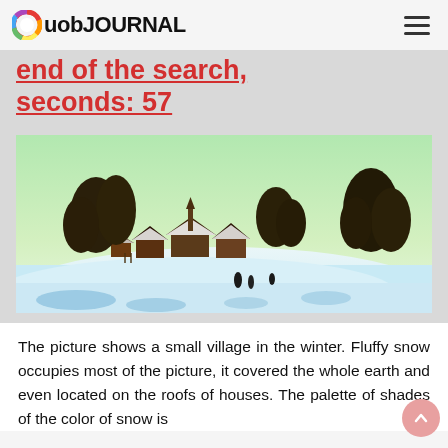uob JOURNAL
end of the search, seconds: 57
[Figure (illustration): A winter landscape painting showing a small village covered in snow. Snow-covered rooftops, dark bare trees, a pale green sky, and figures in the distance on a snowy field with blue shadows.]
The picture shows a small village in the winter. Fluffy snow occupies most of the picture, it covered the whole earth and even located on the roofs of houses. The palette of shades of the color of snow is